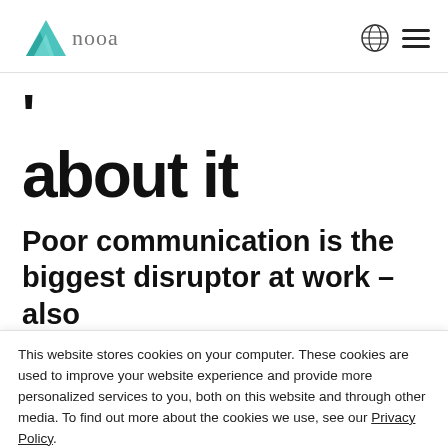nova — navigation bar with globe and hamburger menu
'
about it
Poor communication is the biggest disruptor at work – also
This website stores cookies on your computer. These cookies are used to improve your website experience and provide more personalized services to you, both on this website and through other media. To find out more about the cookies we use, see our Privacy Policy.
We won't track your information when you visit our site. But in order to comply with your preferences, we'll have to use just one tiny cookie so that you're not asked to make this choice again.
Accept  Decline